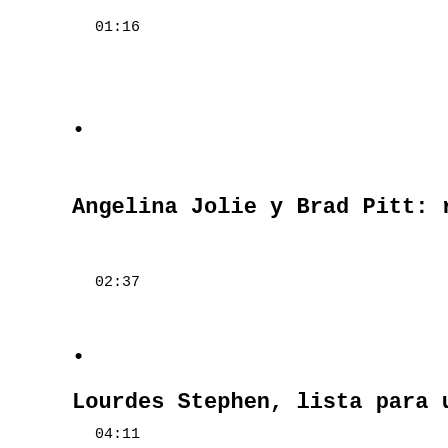01:16
•
Angelina Jolie y Brad Pitt: revela
02:37
•
Lourdes Stephen, lista para una nue
04:11